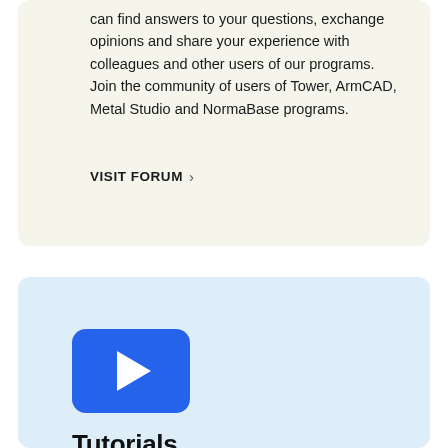can find answers to your questions, exchange opinions and share your experience with colleagues and other users of our programs. Join the community of users of Tower, ArmCAD, Metal Studio and NormaBase programs.
VISIT FORUM >
[Figure (illustration): Blue rounded rectangle with a white play button triangle (YouTube-style play icon)]
Tutorials